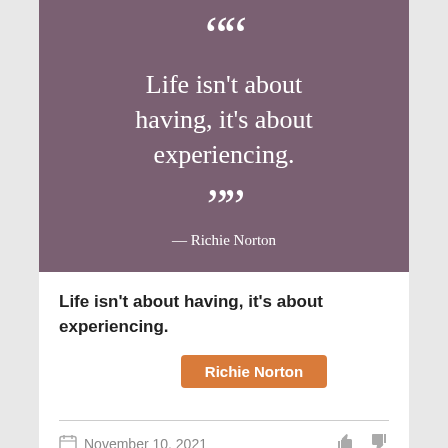[Figure (illustration): Motivational quote card with purple-mauve background. Large open quotation marks at top, centered quote text in white serif font reading 'Life isn't about having, it's about experiencing.', closing quotation marks, and attribution '— Richie Norton' below.]
Life isn't about having, it's about experiencing.
Richie Norton
November 10, 2021